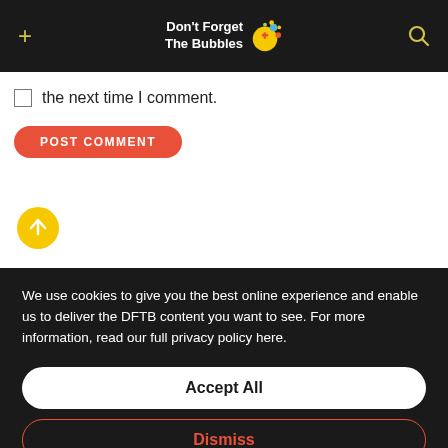Don't Forget The Bubbles
the next time I comment.
POST COMMENT
We use cookies to give you the best online experience and enable us to deliver the DFTB content you want to see. For more information, read our full privacy policy here.
Accept All
Dismiss